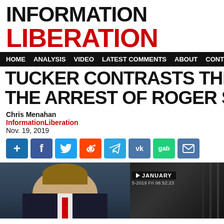INFORMATION LIBERATION
HOME  ANALYSIS  VIDEO  LATEST COMMENTS  ABOUT  CONTACT
TUCKER CONTRASTS THE AR THE ARREST OF ROGER STO
Chris Menahan
InformationLiberation
Nov. 19, 2019
[Figure (screenshot): Social media share buttons: share, Facebook, Twitter, Reddit, Telegram, VK, Gab, Email]
[Figure (screenshot): Video thumbnail showing a news anchor on left panel and a January arrest footage on right panel with timestamp 5-2019 Fri 06:52:23]